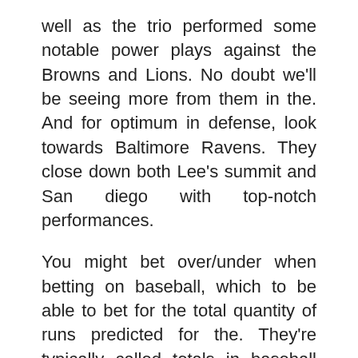well as the trio performed some notable power plays against the Browns and Lions. No doubt we'll be seeing more from them in the. And for optimum in defense, look towards Baltimore Ravens. They close down both Lee's summit and San diego with top-notch performances.
You might bet over/under when betting on baseball, which to be able to bet for the total quantity of runs predicted for the. They're typically called totals in baseball gambling. The totals are just as as consist of sports. When it's in ice hockey and soccer they're presented as goals, and in American Football results, basketball, and rugby they're points, in baseball they're represented as runs. An individual have to do to wager on an over/under to be able to predict if there is actually going to more or fewer runs scored than what the oddsmakers have identified.
A concern . phone's superior 3G capabilities, you go to enjoy one more toyota recall integrated feature. You can easily use